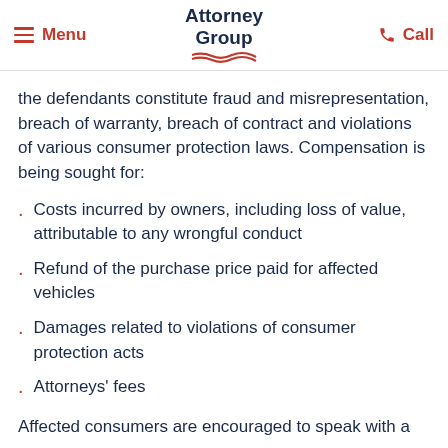Menu | Attorney Group | Call
the defendants constitute fraud and misrepresentation, breach of warranty, breach of contract and violations of various consumer protection laws. Compensation is being sought for:
Costs incurred by owners, including loss of value, attributable to any wrongful conduct
Refund of the purchase price paid for affected vehicles
Damages related to violations of consumer protection acts
Attorneys' fees
Affected consumers are encouraged to speak with a